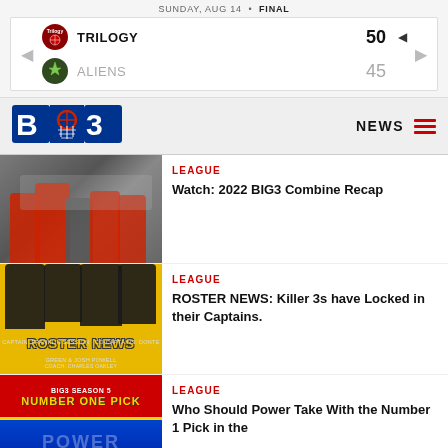SUNDAY, AUG 14 • FINAL
TRILOGY 50 | ALIENS 45
[Figure (logo): BIG3 basketball league logo]
NEWS
[Figure (photo): BIG3 Combine basketball players huddle photo]
LEAGUE
Watch: 2022 BIG3 Combine Recap
[Figure (photo): Roster News - Killer 3s Captains announcement image with players in yellow]
LEAGUE
ROSTER NEWS: Killer 3s have Locked in their Captains.
[Figure (photo): BIG3 Season 5 Number One Pick - Power team image]
LEAGUE
Who Should Power Take With the Number 1 Pick in the